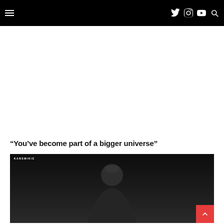Navigation bar with hamburger menu, Twitter, Instagram, YouTube icons and search
“You’ve become part of a bigger universe”
[Figure (photo): Dark photo of a person (silhouette/dark background) with KABSMIKIE label in top-left and a red back-to-top button in the bottom-right corner]